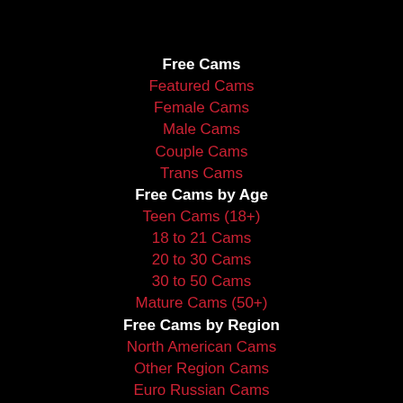Free Cams
Featured Cams
Female Cams
Male Cams
Couple Cams
Trans Cams
Free Cams by Age
Teen Cams (18+)
18 to 21 Cams
20 to 30 Cams
30 to 50 Cams
Mature Cams (50+)
Free Cams by Region
North American Cams
Other Region Cams
Euro Russian Cams
Philippines Cams
Asian Cams
South American Cams
Free Cams by Status
Exhibitionist Cams
HD Cams